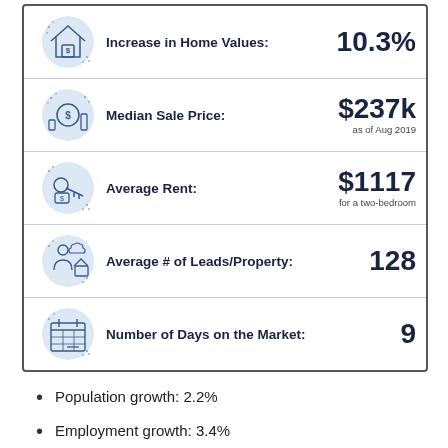[Figure (infographic): Five-row infographic table with icons showing real estate statistics: Increase in Home Values 10.3%, Median Sale Price $237k as of Aug 2019, Average Rent $1117 for a two-bedroom, Average # of Leads/Property 128, Number of Days on the Market 9]
Population growth: 2.2%
Employment growth: 3.4%
Increase in home values: 10.3%